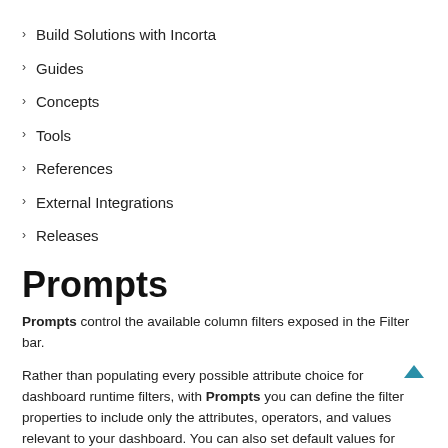Build Solutions with Incorta
Guides
Concepts
Tools
References
External Integrations
Releases
Prompts
Prompts control the available column filters exposed in the Filter bar.
Rather than populating every possible attribute choice for dashboard runtime filters, with Prompts you can define the filter properties to include only the attributes, operators, and values relevant to your dashboard. You can also set default values for